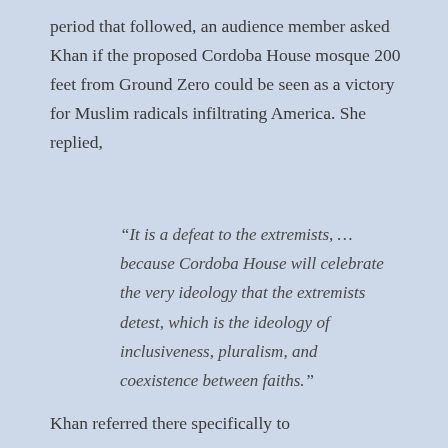period that followed, an audience member asked Khan if the proposed Cordoba House mosque 200 feet from Ground Zero could be seen as a victory for Muslim radicals infiltrating America. She replied,
“It is a defeat to the extremists, … because Cordoba House will celebrate the very ideology that the extremists detest, which is the ideology of inclusiveness, pluralism, and coexistence between faiths.”
Khan referred there specifically to